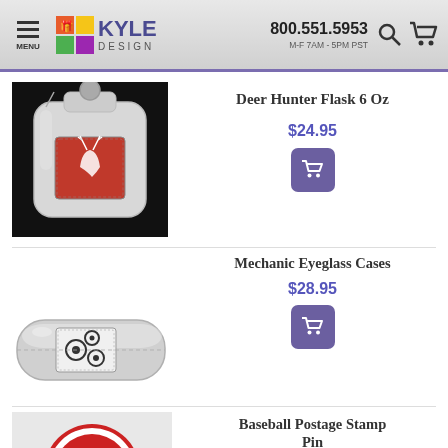Kyle Design — 800.551.5953 — M-F 7AM - 5PM PST
Deer Hunter Flask 6 Oz
$24.95
[Figure (photo): Silver hip flask with a red enamel deer/hunter scene emblem on the front, photographed on black background]
Mechanic Eyeglass Cases
$28.95
[Figure (photo): Silver/chrome eyeglass case with a mechanical gears enamel emblem on the front]
Baseball Postage Stamp Pin
[Figure (photo): Partial view of a baseball postage stamp pin item, showing circular red/white design at bottom of page]